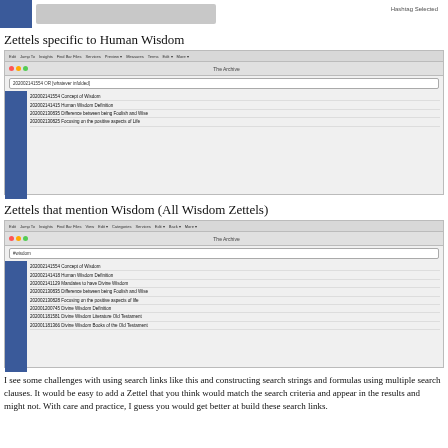[Figure (screenshot): Partial screenshot of The Archive app showing top navigation bar, partially visible]
Zettels specific to Human Wisdom
[Figure (screenshot): Screenshot of The Archive app showing search results for Human Wisdom zettels: 202002141554 Concept of Wisdom, 202002141415 Human Wisdom Definition, 202002130835 Difference between being Foolish and Wise, 202002130825 Focusing on the positive aspects of Life]
Zettels that mention Wisdom (All Wisdom Zettels)
[Figure (screenshot): Screenshot of The Archive app showing all Wisdom zettels: 202002141554 Concept of Wisdom, 202002141418 Human Wisdom Definition, 202002141129 Mandates to have Divine Wisdom, 202002130835 Difference between being Foolish and Wise, 202002130828 Focusing on the positive aspects of life, 202001200745 Divine Wisdom Definition, 202001181581 Divine Wisdom Literature Old Testament, 202001181366 Divine Wisdom Books of the Old Testament]
I see some challenges with using search links like this and constructing search strings and formulas using multiple search clauses. It would be easy to add a Zettel that you think would match the search criteria and appear in the results and might not. With care and practice, I guess you would get better at build these search links.